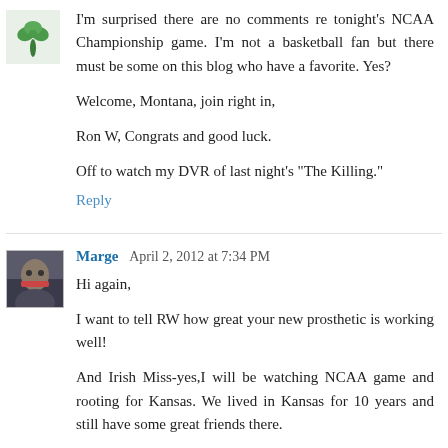[Figure (photo): Small plant/clover avatar icon in top left]
I'm surprised there are no comments re tonight's NCAA Championship game. I'm not a basketball fan but there must be some on this blog who have a favorite. Yes?
Welcome, Montana, join right in,
Ron W, Congrats and good luck.
Off to watch my DVR of last night's "The Killing."
Reply
[Figure (photo): Small photo avatar of Marge]
Marge  April 2, 2012 at 7:34 PM
Hi again,
I want to tell RW how great your new prosthetic is working well!
And Irish Miss-yes,I will be watching NCAA game and rooting for Kansas. We lived in Kansas for 10 years and still have some great friends there.